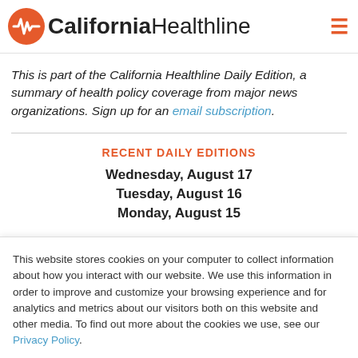California Healthline
This is part of the California Healthline Daily Edition, a summary of health policy coverage from major news organizations. Sign up for an email subscription.
RECENT DAILY EDITIONS
Wednesday, August 17
Tuesday, August 16
Monday, August 15
This website stores cookies on your computer to collect information about how you interact with our website. We use this information in order to improve and customize your browsing experience and for analytics and metrics about our visitors both on this website and other media. To find out more about the cookies we use, see our Privacy Policy.
Accept